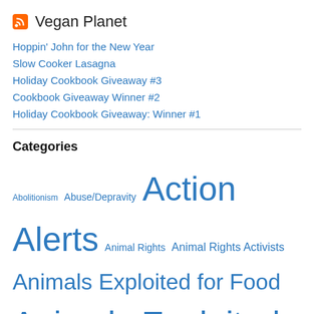Vegan Planet
Hoppin' John for the New Year
Slow Cooker Lasagna
Holiday Cookbook Giveaway #3
Cookbook Giveaway Winner #2
Holiday Cookbook Giveaway: Winner #1
Categories
Abolitionism Abuse/Depravity Action Alerts Animal Rights Animal Rights Activists Animals Exploited for Food Animals Exploited for Fun & Sport Animals Exploited for Fur/Clothing Animals Exploited for Ritual Capitalism/Poverty Carnism Censorship